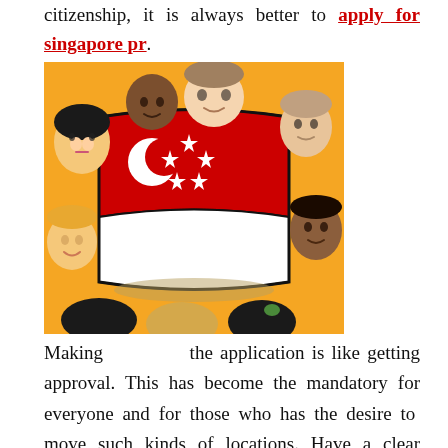citizenship, it is always better to apply for singapore pr.
[Figure (illustration): Illustration of diverse people of various ethnicities surrounding and holding the Singapore flag (red and white with crescent moon and five stars), set against a yellow background.]
Making the application is like getting approval. This has become the mandatory for everyone and for those who has the desire to move such kinds of locations. Have a clear understanding about the place and the procedures that one has to cross through. This will bring a great chance